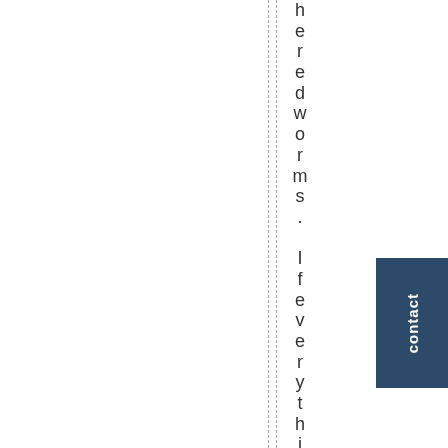heredworms. If everything goes we
contact